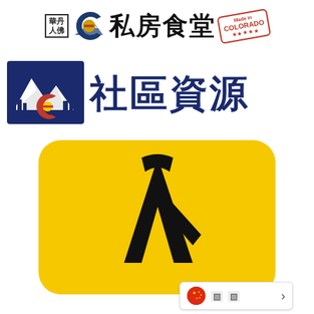[Figure (logo): Top banner with Chinese logo box (華丹人佛), Colorado C logo, Chinese text 私房食堂, and Made in Colorado stamp]
[Figure (logo): Community resources section with Colorado mountain/city logo and Chinese text 社區資源 in dark navy blue]
[Figure (logo): Yellow rounded square with black stylized person/arrow icon (looks like 入 character or walking person)]
[Figure (infographic): Bottom bar showing Chinese flag emoji, two small squares, and right arrow chevron]